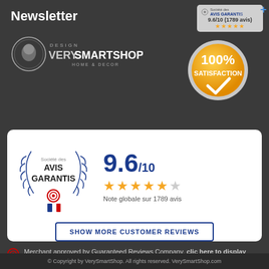Newsletter
[Figure (logo): Avis Garantis badge top right with score 9.6/10 and stars]
[Figure (logo): VerySmartShop Design Home & Decor logo]
[Figure (infographic): 100% Satisfaction badge gold circle with checkmark]
[Figure (infographic): Societe des Avis Garantis laurel wreath logo with French flag ribbon]
9.6/10
Note globale sur 1789 avis
SHOW MORE CUSTOMER REVIEWS
Merchant approved by Guaranteed Reviews Company, clic here to display attestation.
© Copyright by VerySmartShop. All rights reserved. VerySmartShop.com